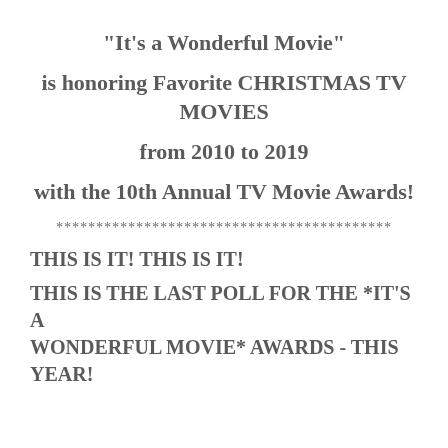"It's a Wonderful Movie"
is honoring Favorite CHRISTMAS TV MOVIES
from 2010 to 2019
with the 10th Annual TV Movie Awards!
******************************************
THIS IS IT! THIS IS IT!
THIS IS THE LAST POLL FOR THE *IT'S A WONDERFUL MOVIE* AWARDS - THIS YEAR!